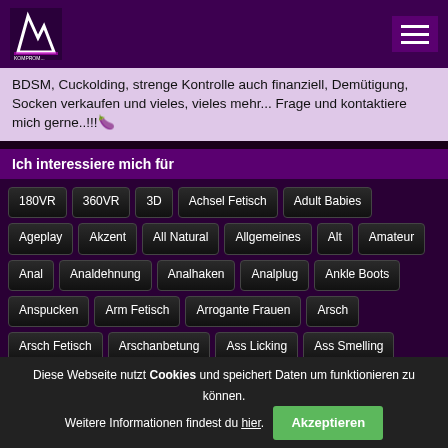KOMPROM... [logo] [hamburger menu]
BDSM, Cuckolding, strenge Kontrolle auch finanziell, Demütigung, Socken verkaufen und vieles, vieles mehr... Frage und kontaktiere mich gerne..!!!🍆
Ich interessiere mich für
180VR
360VR
3D
Achsel Fetisch
Adult Babies
Ageplay
Akzent
All Natural
Allgemeines
Alt
Amateur
Anal
Analdehnung
Analhaken
Analplug
Ankle Boots
Anspucken
Arm Fetisch
Arrogante Frauen
Arsch
Arsch Fetisch
Arschanbetung
Ass Licking
Ass Smelling
Atemkontrolle
Atemkontrollspiele
Aufblasbar
Augen Fetisch
Augenkontakt
Auspeitschen
Ball and Cock Tickling
Ballbusting
Diese Webseite nutzt Cookies und speichert Daten um funktionieren zu können. Weitere Informationen findest du hier. Akzeptieren